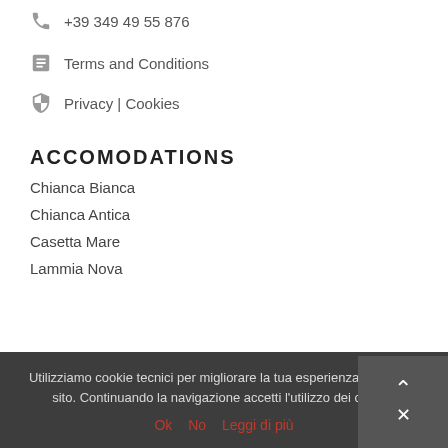+39 349 49 55 876
Terms and Conditions
Privacy | Cookies
ACCOMODATIONS
Chianca Bianca
Chianca Antica
Casetta Mare
Lammia Nova
Utilizziamo cookie tecnici per migliorare la tua esperienza su questo sito. Continuando la navigazione accetti l’utilizzo dei cookie.
Ok  No  Leggi di più